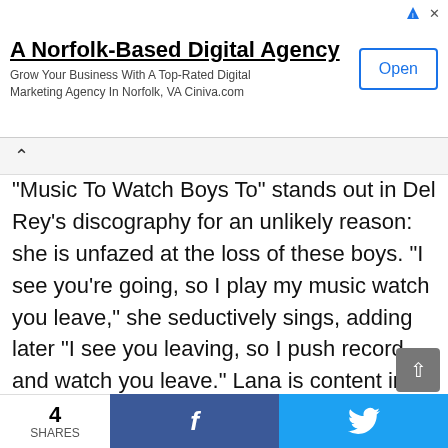[Figure (other): Advertisement banner: 'A Norfolk-Based Digital Agency' with Open button, AdChoices icon, and close button]
“Music To Watch Boys To” stands out in Del Rey’s discography for an unlikely reason: she is unfazed at the loss of these boys. “I see you’re going, so I play my music watch you leave,” she seductively sings, adding later “I see you leaving, so I push record and watch you leave.” Lana is content in the fact that she has made beautiful music from the loss of past loves, and it’s a feat that is growing tiresome to the singer. She gets into her routine, lets the boy go and records some new music to soothe her soul. The personal and
4 SHARES  f  🐦